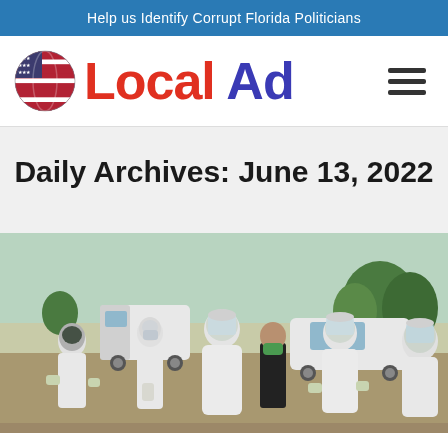Help us Identify Corrupt Florida Politicians
[Figure (logo): Local Ad logo with globe icon showing US flag motif, red 'Local' and blue 'Ad' text, and hamburger menu icon]
Daily Archives: June 13, 2022
[Figure (photo): Outdoor scene with multiple people in white PPE hazmat suits, face shields, and masks. One person in black clothing with green mask stands among them. Vehicles and trees visible in the background.]